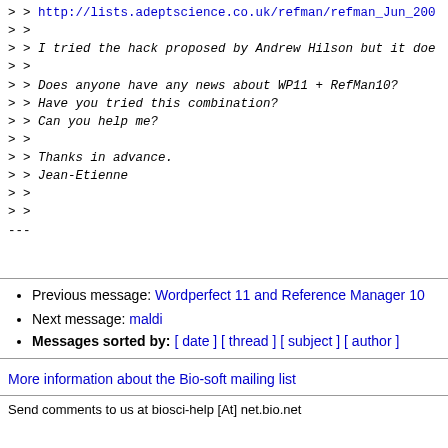> > http://lists.adeptscience.co.uk/refman/refman_Jun_200...
> >
> > I tried the hack proposed by Andrew Hilson but it do...
> >
> > Does anyone have any news about WP11 + RefMan10?
> > Have you tried this combination?
> > Can you help me?
> >
> > Thanks in advance.
> > Jean-Etienne
> >
> >
---
Previous message: Wordperfect 11 and Reference Manager 10
Next message: maldi
Messages sorted by: [ date ] [ thread ] [ subject ] [ author ]
More information about the Bio-soft mailing list
Send comments to us at biosci-help [At] net.bio.net